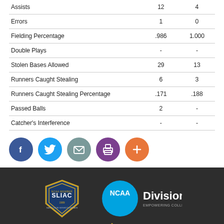|  |  |  |
| --- | --- | --- |
| Assists | 12 | 4 |
| Errors | 1 | 0 |
| Fielding Percentage | .986 | 1.000 |
| Double Plays | - | - |
| Stolen Bases Allowed | 29 | 13 |
| Runners Caught Stealing | 6 | 3 |
| Runners Caught Stealing Percentage | .171 | .188 |
| Passed Balls | 2 | - |
| Catcher's Interference | - | - |
[Figure (infographic): Social media share buttons: Facebook (blue), Twitter (light blue), Email (gray-teal), Print (purple), Add/Plus (orange)]
[Figure (logo): SLIAC conference logo and NCAA Division III logo in dark footer]
[Figure (logo): Northern Jacks university logo at bottom of dark footer]